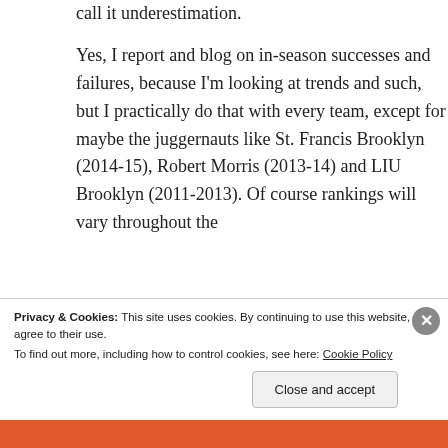call it underestimation.

Yes, I report and blog on in-season successes and failures, because I'm looking at trends and such, but I practically do that with every team, except for maybe the juggernauts like St. Francis Brooklyn (2014-15), Robert Morris (2013-14) and LIU Brooklyn (2011-2013). Of course rankings will vary throughout the
Privacy & Cookies: This site uses cookies. By continuing to use this website, you agree to their use.
To find out more, including how to control cookies, see here: Cookie Policy